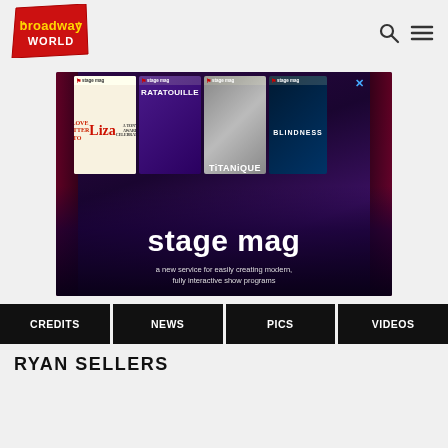[Figure (logo): BroadwayWorld logo — red diagonal badge with yellow 'broadway' text and white 'WORLD' text]
[Figure (screenshot): Stage Mag advertisement banner showing playbill covers for 'A Love Letter to Liza', 'Ratatouille', 'Titanique', and 'Blindness', with large text 'stage mag' and subtitle 'a new service for easily creating modern, fully interactive show programs']
CREDITS
NEWS
PICS
VIDEOS
RYAN SELLERS